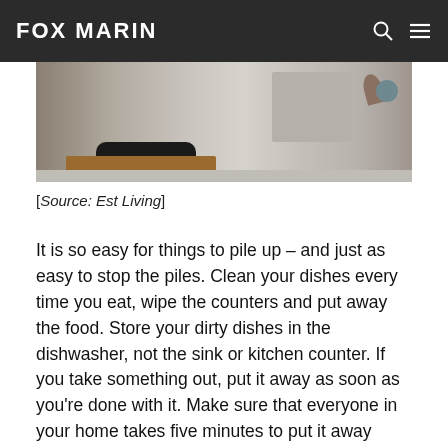FOX MARIN
[Figure (photo): Interior photo of a modern kitchen/dining area with a dark wooden chair back, warm-toned wooden table, concrete-look floors and walls, and decorative objects on a shelf or countertop in the background.]
[Source: Est Living]
It is so easy for things to pile up – and just as easy to stop the piles. Clean your dishes every time you eat, wipe the counters and put away the food. Store your dirty dishes in the dishwasher, not the sink or kitchen counter. If you take something out, put it away as soon as you're done with it. Make sure that everyone in your home takes five minutes to put it away every day. Make sure